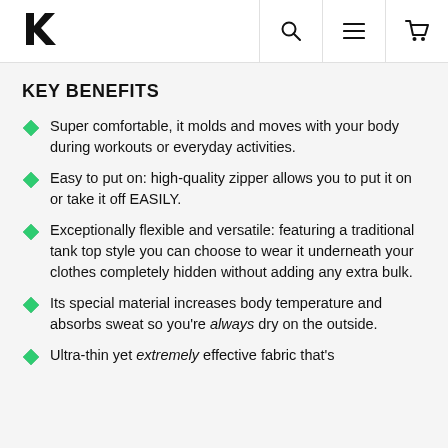K [logo] | search | menu | cart
KEY BENEFITS
Super comfortable, it molds and moves with your body during workouts or everyday activities.
Easy to put on: high-quality zipper allows you to put it on or take it off EASILY.
Exceptionally flexible and versatile: featuring a traditional tank top style you can choose to wear it underneath your clothes completely hidden without adding any extra bulk.
Its special material increases body temperature and absorbs sweat so you're always dry on the outside.
Ultra-thin yet extremely effective fabric that's